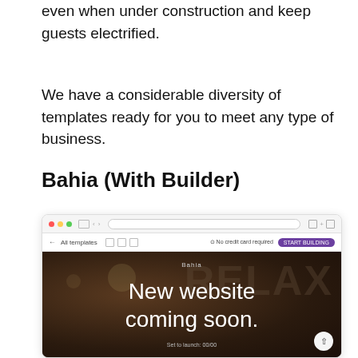even when under construction and keep guests electrified.
We have a considerable diversity of templates ready for you to meet any type of business.
Bahia (With Builder)
[Figure (screenshot): Browser screenshot of the Bahia website template preview showing 'New website coming soon.' on a dark background with large 'RELAX' letters in the background.]